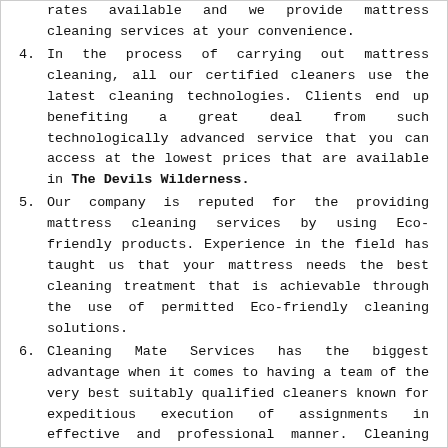Our clients are offered the most competitive rates available and we provide mattress cleaning services at your convenience.
In the process of carrying out mattress cleaning, all our certified cleaners use the latest cleaning technologies. Clients end up benefiting a great deal from such technologically advanced service that you can access at the lowest prices that are available in The Devils Wilderness.
Our company is reputed for the providing mattress cleaning services by using Eco-friendly products. Experience in the field has taught us that your mattress needs the best cleaning treatment that is achievable through the use of permitted Eco-friendly cleaning solutions.
Cleaning Mate Services has the biggest advantage when it comes to having a team of the very best suitably qualified cleaners known for expeditious execution of assignments in effective and professional manner. Cleaning Mate Services employees are insured in all their duties meaning that you need not be